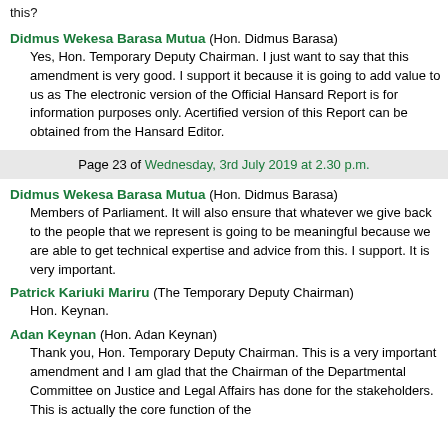this?
Didmus Wekesa Barasa Mutua (Hon. Didmus Barasa)
Yes, Hon. Temporary Deputy Chairman. I just want to say that this amendment is very good. I support it because it is going to add value to us as The electronic version of the Official Hansard Report is for information purposes only. Acertified version of this Report can be obtained from the Hansard Editor.
Page 23 of Wednesday, 3rd July 2019 at 2.30 p.m.
Didmus Wekesa Barasa Mutua (Hon. Didmus Barasa)
Members of Parliament. It will also ensure that whatever we give back to the people that we represent is going to be meaningful because we are able to get technical expertise and advice from this. I support. It is very important.
Patrick Kariuki Mariru (The Temporary Deputy Chairman)
Hon. Keynan.
Adan Keynan (Hon. Adan Keynan)
Thank you, Hon. Temporary Deputy Chairman. This is a very important amendment and I am glad that the Chairman of the Departmental Committee on Justice and Legal Affairs has done for the stakeholders. This is actually the core function of the